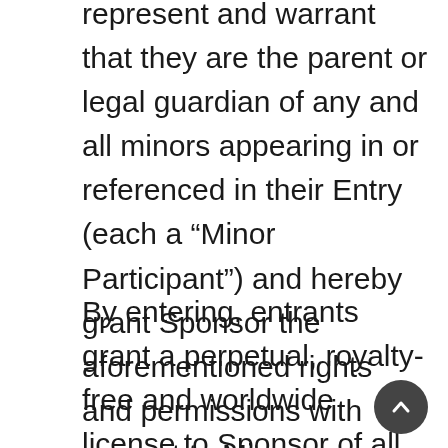represent and warrant that they are the parent or legal guardian of any and all minors appearing in or referenced in their Entry (each a “Minor Participant”) and hereby grant Sponsor the aforementioned rights and permissions with respect to Minor Participant.
By entering, entrants grant a perpetual, royalty-free and worldwide license to Sponsor of all intellectual property rights in their Entry. Pursuant to the license